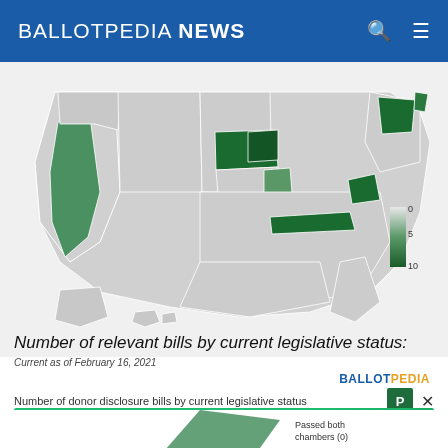BALLOTPEDIA NEWS
[Figure (map): US choropleth map showing number of relevant donor disclosure bills by state, colored in shades of green (dark green = ~10, light = ~5, gray = 0). States with highest counts include Nebraska, Iowa, Tennessee, West Virginia, California, and New York. Legend shows scale 0-10.]
Current as of February 16, 2021
Number of relevant bills by current legislative status:
Number of donor disclosure bills by current legislative status
[Figure (infographic): Fiverr advertisement: Working from home? Get your projects done on fiverr]
[Figure (pie-chart): Partial pie chart visible at bottom showing 'Passed both chambers (0)' label]